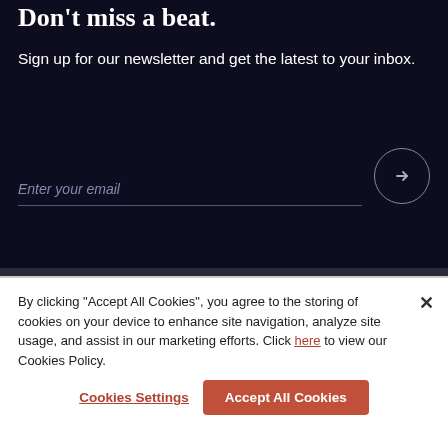Don't miss a beat.
Sign up for our newsletter and get the latest to your inbox.
Enter your email
By clicking "Accept All Cookies", you agree to the storing of cookies on your device to enhance site navigation, analyze site usage, and assist in our marketing efforts. Click here to view our Cookies Policy.
Cookies Settings
Accept All Cookies